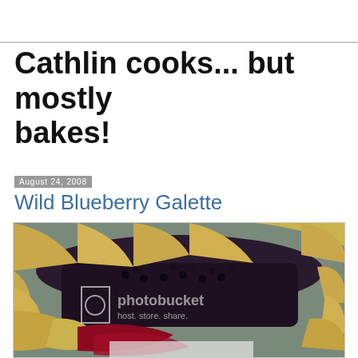Cathlin cooks... but mostly bakes!
August 24, 2008
Wild Blueberry Galette
[Figure (photo): Close-up photo of a wild blueberry galette with golden pastry crust folded around dark blueberry filling, with a photobucket watermark overlay reading 'photobucket host. store. share.']